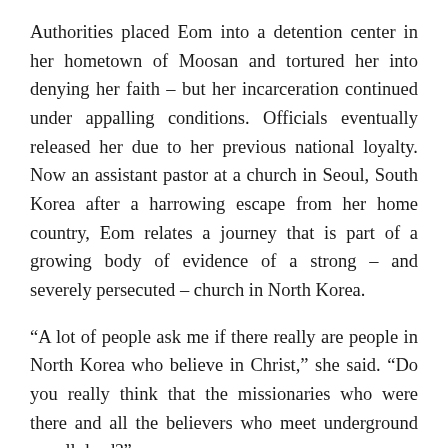Authorities placed Eom into a detention center in her hometown of Moosan and tortured her into denying her faith – but her incarceration continued under appalling conditions. Officials eventually released her due to her previous national loyalty. Now an assistant pastor at a church in Seoul, South Korea after a harrowing escape from her home country, Eom relates a journey that is part of a growing body of evidence of a strong – and severely persecuted – church in North Korea.
“A lot of people ask me if there really are people in North Korea who believe in Christ,” she said. “Do you really think that the missionaries who were there and all the believers who meet underground are all dead?”
Even as the North Korean government this month allowed two high-profile, U.S. Christian bands to perform at a music festival in Pyongyang, the fear of punishment authorities have instilled